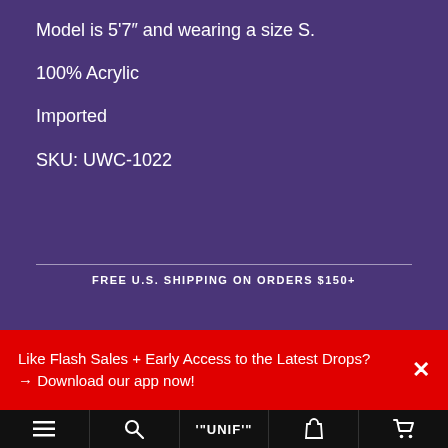Model is 5'7" and wearing a size S.
100% Acrylic
Imported
SKU: UWC-1022
FREE U.S. SHIPPING ON ORDERS $150+
Like Flash Sales + Early Access to the Latest Drops?
→ Download our app now!
≡  🔍  ""UNIF""  👤  🛒